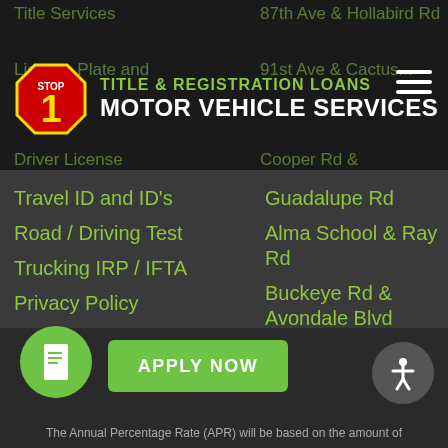[Figure (logo): 1 Stop Motor Vehicle Services logo with red octagon stop sign shape containing '1' and text 'TITLE & REGISTRATION LOANS' and 'MOTOR VEHICLE SERVICES']
Travel ID and ID's
Road / Driving Test
Trucking IRP / IFTA
Privacy Policy
Terms of Use
Guadalupe Rd
Alma School & Ray Rd
Buckeye Rd & Avondale Blvd
Buckeye Rd & 107th Ave
Gavilan Peak & Anthem Way
The Annual Percentage Rate (APR) will be based on the amount of